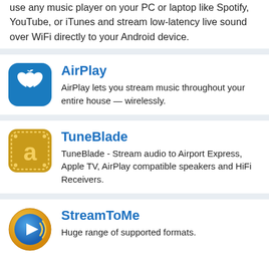use any music player on your PC or laptop like Spotify, YouTube, or iTunes and stream low-latency live sound over WiFi directly to your Android device.
[Figure (logo): AirPlay app icon — blue rounded square with white Apple logo]
AirPlay
AirPlay lets you stream music throughout your entire house — wirelessly.
[Figure (logo): TuneBlade app icon — gold/yellow rounded square with dotted border and letter 'a']
TuneBlade
TuneBlade - Stream audio to Airport Express, Apple TV, AirPlay compatible speakers and HiFi Receivers.
[Figure (logo): StreamToMe app icon — orange/gold circular icon with blue play button and sound waves]
StreamToMe
Huge range of supported formats.